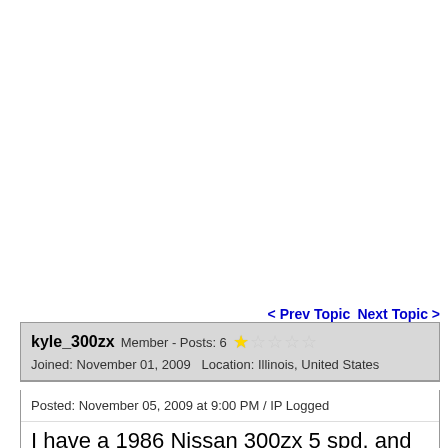< Prev Topic  Next Topic >
kyle_300zx  Member - Posts: 6  ★☆☆☆☆
Joined: November 01, 2009   Location: Illinois, United States
Posted: November 05, 2009 at 9:00 PM / IP Logged
I have a 1986 Nissan 300zx 5 spd. and was wondering if I could hook up a remote start to the car? It does not require the clutch pedal to be pushed for the car to start. It starts